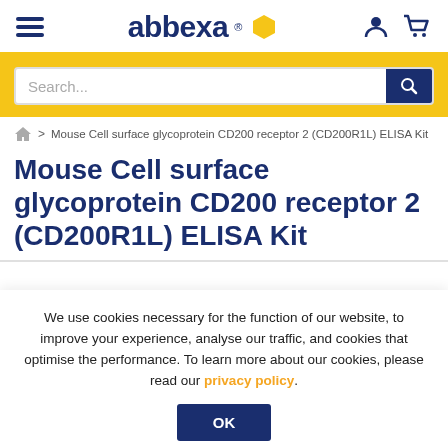abbexa
Search...
> Mouse Cell surface glycoprotein CD200 receptor 2 (CD200R1L) ELISA Kit
Mouse Cell surface glycoprotein CD200 receptor 2 (CD200R1L) ELISA Kit
We use cookies necessary for the function of our website, to improve your experience, analyse our traffic, and cookies that optimise the performance. To learn more about our cookies, please read our privacy policy.